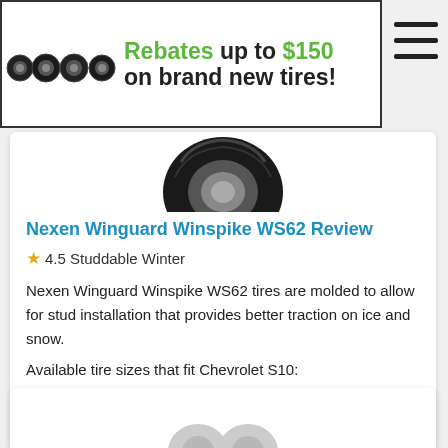[Figure (photo): Banner ad showing four tires with text: Rebates up to $150 on brand new tires!]
[Figure (photo): Partial tire image at top of product card]
Nexen Winguard Winspike WS62 Review
★ 4.5 Studdable Winter
Nexen Winguard Winspike WS62 tires are molded to allow for stud installation that provides better traction on ice and snow.
Available tire sizes that fit Chevrolet S10:
P235/75R15 from $129.96
[Figure (photo): Partial tire image at top of second product card (bottom, cropped)]